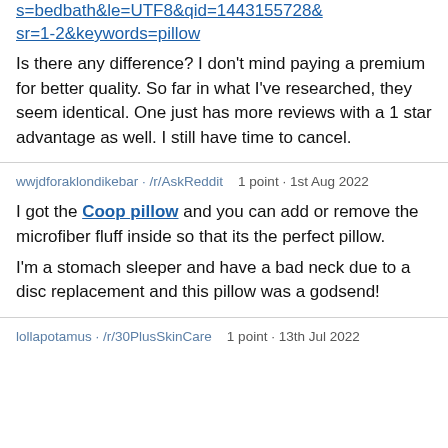s=bedbath&amp;le=UTF8&amp;qid=1443155728&amp;sr=1-2&amp;keywords=pillow
Is there any difference? I don't mind paying a premium for better quality. So far in what I've researched, they seem identical. One just has more reviews with a 1 star advantage as well. I still have time to cancel.
wwjdforaklondikebar · /r/AskReddit   1 point · 1st Aug 2022
I got the Coop pillow and you can add or remove the microfiber fluff inside so that its the perfect pillow.

I'm a stomach sleeper and have a bad neck due to a disc replacement and this pillow was a godsend!
lollapotamus · /r/30PlusSkinCare   1 point · 13th Jul 2022